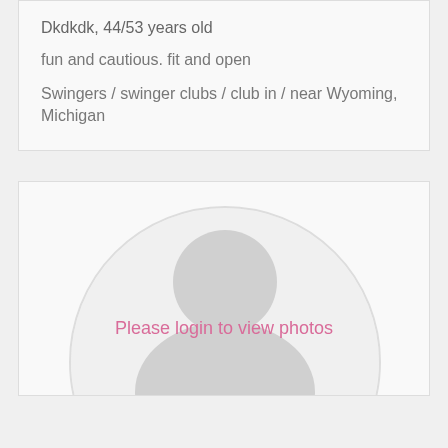Dkdkdk, 44/53 years old
fun and cautious. fit and open
Swingers / swinger clubs / club in / near Wyoming, Michigan
[Figure (illustration): Default user avatar placeholder with circular silhouette and 'Please login to view photos' text overlay]